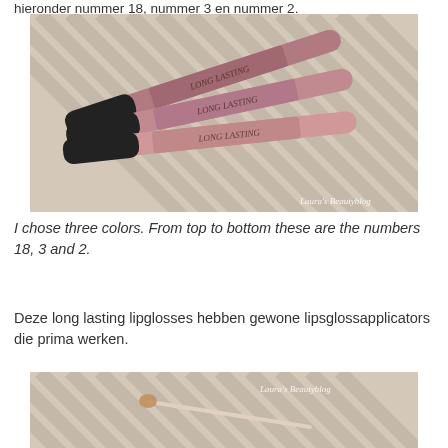hieronder nummer 18, nummer 3 en nummer 2.
[Figure (photo): Three NOY Long Lasting lip gloss tubes with black caps arranged diagonally on a striped beige and white fabric background. The tubes are different shades of pink/mauve. Watermark reads Laura's Beautyblog.]
I chose three colors. From top to bottom these are the numbers 18, 3 and 2.
Deze long lasting lipglosses hebben gewone lipsglossapplicators die prima werken.
[Figure (photo): Close-up of a lip gloss applicator wand on a striped beige and white fabric background. Watermark reads Laura's Beautyblog.]